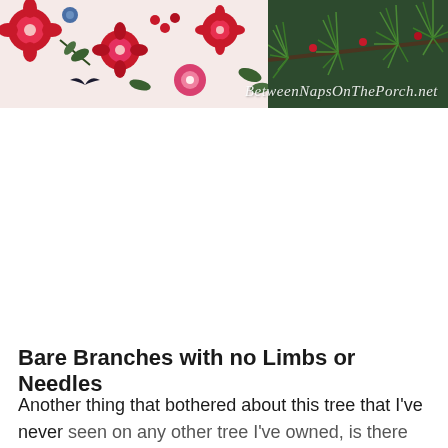[Figure (photo): Top banner image showing a floral fabric pattern with red and pink flowers on a light background on the left, and pine tree branches with green needles on the right. A watermark reads 'BetweenNapsOnThePorch.net' in white italic script at the bottom right.]
Bare Branches with no Limbs or Needles
Another thing that bothered about this tree that I've never seen on any other tree I've owned, is there are areas of the branches that are missing needles and are totally bare.